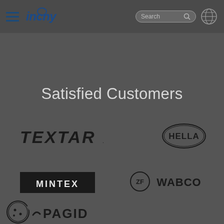incony — navigation bar with hamburger menu, search bar, and globe icon
Satisfied Customers
[Figure (logo): TEXTAR logo — bold italic text in dark color]
[Figure (logo): HELLA logo — oval border with bold text HELLA inside]
[Figure (logo): MINTEX logo — white text on black rectangle background]
[Figure (logo): ZF WABCO logo — ZF in circle followed by WABCO bold text]
[Figure (logo): Cookie icon and PAGID logo with checkmark-like tick mark]